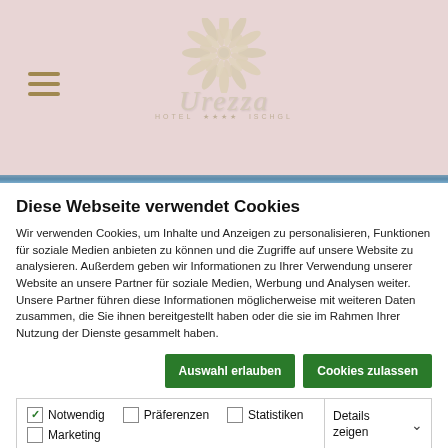[Figure (logo): Urezza Hotel logo with decorative snowflake/burst graphic in cream/white tones and script brand name on pink/rose background]
Diese Webseite verwendet Cookies
Wir verwenden Cookies, um Inhalte und Anzeigen zu personalisieren, Funktionen für soziale Medien anbieten zu können und die Zugriffe auf unsere Website zu analysieren. Außerdem geben wir Informationen zu Ihrer Verwendung unserer Website an unsere Partner für soziale Medien, Werbung und Analysen weiter. Unsere Partner führen diese Informationen möglicherweise mit weiteren Daten zusammen, die Sie ihnen bereitgestellt haben oder die sie im Rahmen Ihrer Nutzung der Dienste gesammelt haben.
Auswahl erlauben | Cookies zulassen
| ✓ Notwendig | □ Präferenzen | □ Statistiken | Details zeigen ∨ |
| □ Marketing |  |  |  |